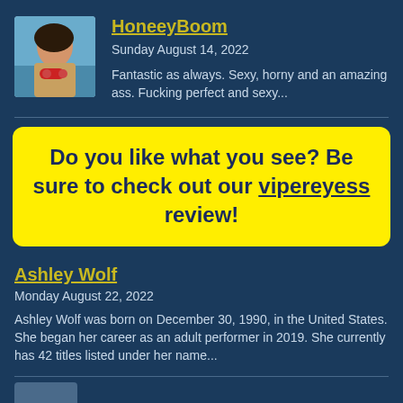[Figure (photo): Profile avatar photo of a woman in a swimsuit near water]
HoneeyBoom
Sunday August 14, 2022
Fantastic as always. Sexy, horny and an amazing ass. Fucking perfect and sexy...
Do you like what you see? Be sure to check out our vipereyess review!
Ashley Wolf
Monday August 22, 2022
Ashley Wolf was born on December 30, 1990, in the United States. She began her career as an adult performer in 2019. She currently has 42 titles listed under her name...
[Figure (photo): Partial profile avatar visible at bottom of page]